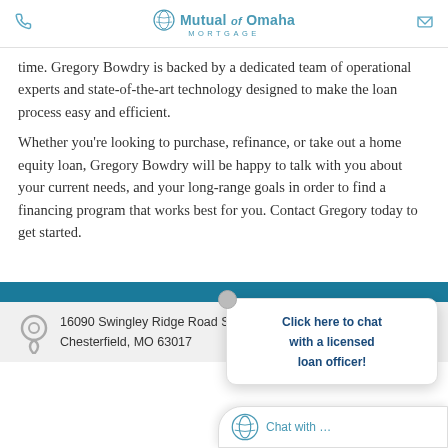Mutual of Omaha Mortgage
time. Gregory Bowdry is backed by a dedicated team of operational experts and state-of-the-art technology designed to make the loan process easy and efficient.
Whether you're looking to purchase, refinance, or take out a home equity loan, Gregory Bowdry will be happy to talk with you about your current needs, and your long-range goals in order to find a financing program that works best for you. Contact Gregory today to get started.
[Figure (screenshot): Chat popup overlay with text: Click here to chat with a licensed loan officer!]
16090 Swingley Ridge Road Suite
Chesterfield, MO 63017